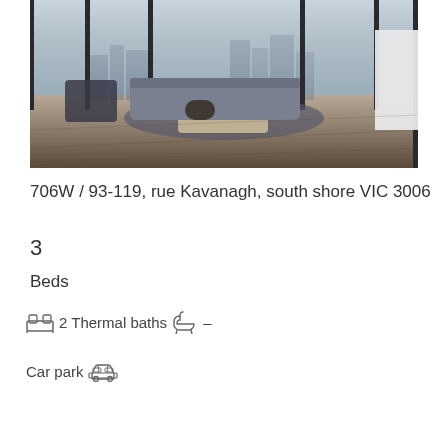[Figure (photo): Interior photo of a modern apartment living room with floor-to-ceiling windows, dark wood flooring, grey sofa, and city skyline view]
706W / 93-119, rue Kavanagh, south shore VIC 3006
3
Beds
2 Thermal baths –
Car park